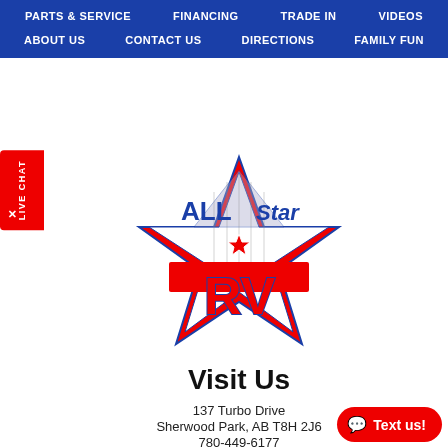PARTS & SERVICE  FINANCING  TRADE IN  VIDEOS
ABOUT US  CONTACT US  DIRECTIONS  FAMILY FUN
[Figure (logo): All Star RV logo: large dark blue text 'ALL' and 'Star' with a red/white/blue star shape and bold red 'RV' text inside the star]
Visit Us
137 Turbo Drive
Sherwood Park, AB T8H 2J6
780-449-6177